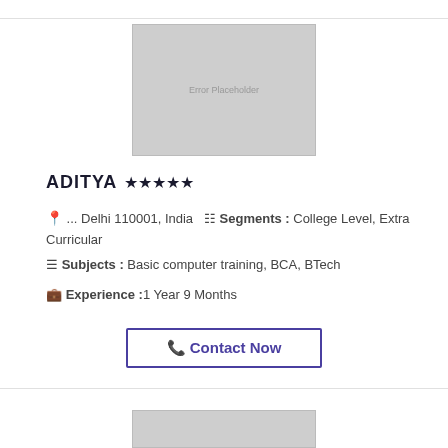[Figure (other): Gray placeholder image box for profile photo]
ADITYA ★★★★★
📍 ... Delhi 110001, India   📋 Segments : College Level, Extra Curricular
📚 Subjects : Basic computer training, BCA, BTech
💼 Experience :1 Year 9 Months
📞 Contact Now